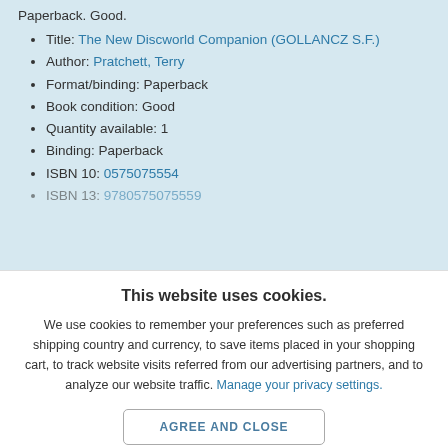Paperback. Good.
Title: The New Discworld Companion (GOLLANCZ S.F.)
Author: Pratchett, Terry
Format/binding: Paperback
Book condition: Good
Quantity available: 1
Binding: Paperback
ISBN 10: 0575075554
ISBN 13: 9780575075559
This website uses cookies.
We use cookies to remember your preferences such as preferred shipping country and currency, to save items placed in your shopping cart, to track website visits referred from our advertising partners, and to analyze our website traffic. Manage your privacy settings.
AGREE AND CLOSE